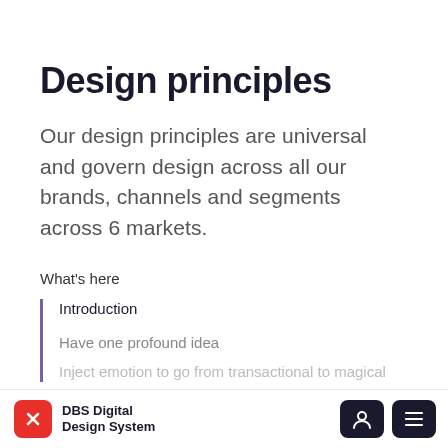Design principles
Our design principles are universal and govern design across all our brands, channels and segments across 6 markets.
What's here
Introduction
Have one profound idea
Inject emotion to go from transactional to magical
DBS Digital Design System